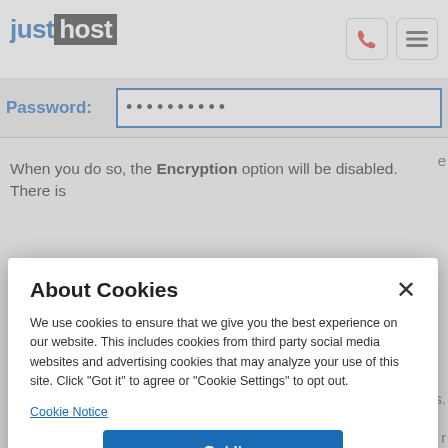[Figure (screenshot): JustHost website header with logo, phone icon button, and hamburger menu icon button]
Password: ••••••••••
When you do so, the Encryption option will be disabled. There is
[Figure (screenshot): Cookie consent modal dialog titled 'About Cookies' with close button, body text about cookie usage, Cookie Notice link, 'Got It' blue button, and 'Cookies Settings' link]